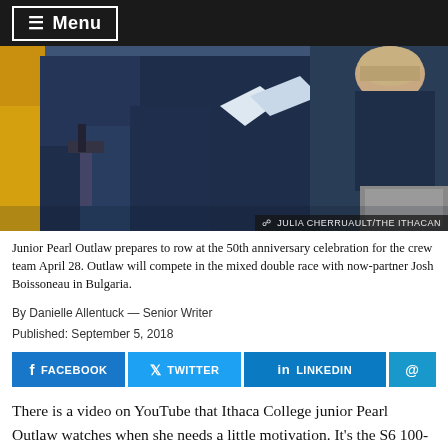≡ Menu
[Figure (photo): Junior Pearl Outlaw and teammates in navy jackets preparing to row; a woman with light hair looks down at equipment.]
Junior Pearl Outlaw prepares to row at the 50th anniversary celebration for the crew team April 28. Outlaw will compete in the mixed double race with now-partner Josh Boissoneau in Bulgaria.
By Danielle Allentuck — Senior Writer
Published: September 5, 2018
FACEBOOK  TWITTER  LINKEDIN  @
There is a video on YouTube that Ithaca College junior Pearl Outlaw watches when she needs a little motivation. It's the S6 100-meter backstroke final from the 2012 Paralympic Games, where competitors with missing limbs are racing for the gold.
Some are missing just part of their arms, while others are missing